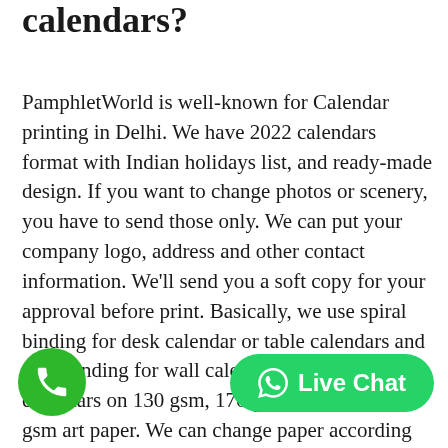calendars?
PamphletWorld is well-known for Calendar printing in Delhi. We have 2022 calendars format with Indian holidays list, and ready-made design. If you want to change photos or scenery, you have to send those only. We can put your company logo, address and other contact information. We'll send you a soft copy for your approval before print. Basically, we use spiral binding for desk calendar or table calendars and wire binding for wall calendars. We print calendars on 130 gsm, 170 gsm, 250 gsm, 300 gsm art paper. We can change paper according to your need. Basically, 250 gsm or 300 gsm paper used for Desk calendar and 170 gsm or 130 gsm used for wall calendars printing. Please call us to see our samples and for quotation please just fill our contact from, we will get back to you as soon as possible.